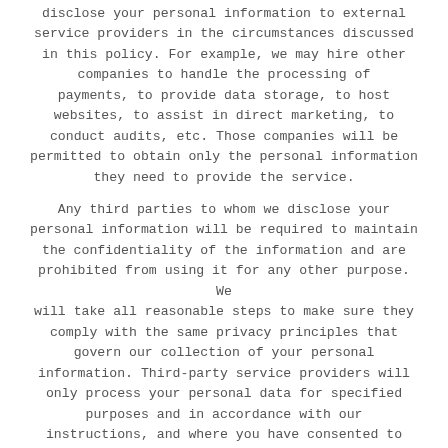disclose your personal information to external service providers in the circumstances discussed in this policy. For example, we may hire other companies to handle the processing of payments, to provide data storage, to host websites, to assist in direct marketing, to conduct audits, etc. Those companies will be permitted to obtain only the personal information they need to provide the service.
Any third parties to whom we disclose your personal information will be required to maintain the confidentiality of the information and are prohibited from using it for any other purpose. We will take all reasonable steps to make sure they comply with the same privacy principles that govern our collection of your personal information. Third-party service providers will only process your personal data for specified purposes and in accordance with our instructions, and where you have consented to the use, either expressly or by implication.